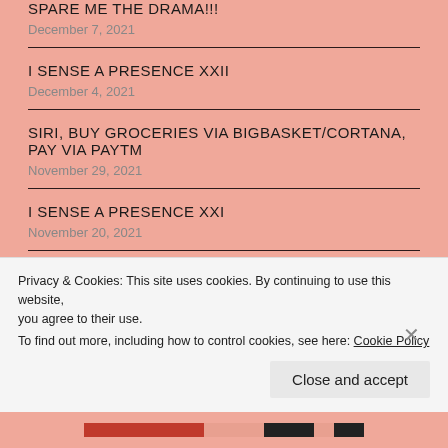SPARE ME THE DRAMA!!!
December 7, 2021
I Sense A Presence XXII
December 4, 2021
SIRI, BUY GROCERIES VIA BIGBASKET/CORTANA, PAY VIA PAYTM
November 29, 2021
I Sense A Presence XXI
November 20, 2021
BIRD IN THE GOLDEN CAGE
Privacy & Cookies: This site uses cookies. By continuing to use this website, you agree to their use.
To find out more, including how to control cookies, see here: Cookie Policy
Close and accept